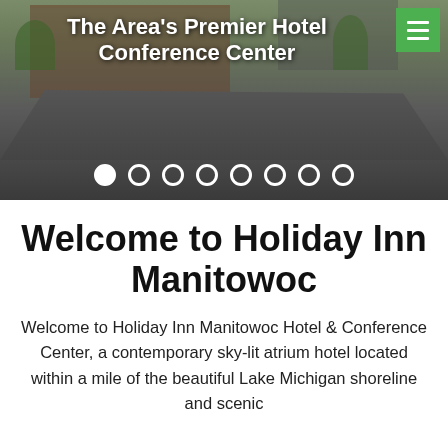[Figure (photo): Hero banner photo of Holiday Inn Manitowoc hotel exterior with parking lot/driveway in foreground, trees and brick building in background. Overlaid text reads 'The Area's Premier Hotel Conference Center'. Green hamburger menu button in top right. Row of pagination dots at bottom of image.]
Welcome to Holiday Inn Manitowoc
Welcome to Holiday Inn Manitowoc Hotel & Conference Center, a contemporary sky-lit atrium hotel located within a mile of the beautiful Lake Michigan shoreline and scenic Marinade Trail. Manitowoc is the...